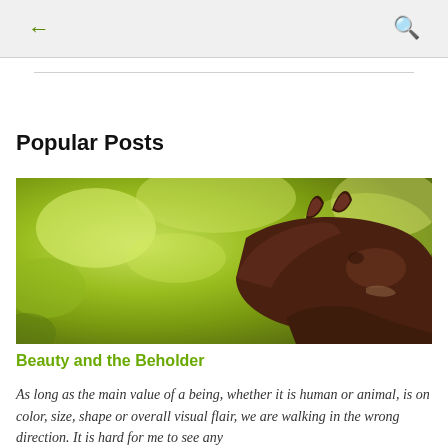← [back] [search]
Popular Posts
[Figure (photo): Close-up photograph of a dark brown horse's head and ears against a bright green leafy background in sunlight]
Beauty and the Beholder
As long as the main value of a being, whether it is human or animal, is on color, size, shape or overall visual flair, we are walking in the wrong direction. It is hard for me to see any